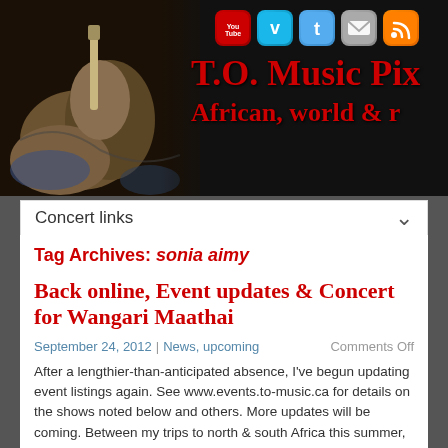[Figure (photo): T.O. Music Pix website header banner with photo of hands playing an instrument on the left, social media icons (YouTube, Vimeo, Twitter, Email, RSS) and site title text in red on black background]
Concert links
Tag Archives: sonia aimy
Back online, Event updates & Concert for Wangari Maathai
September 24, 2012 | News, upcoming
Comments Off
After a lengthier-than-anticipated absence, I've begun updating event listings again. See www.events.to-music.ca for details on the shows noted below and others. More updates will be coming. Between my trips to north & south Africa this summer, preparing photo/video/journal reports, and then a PC and hard drive that died as soon as I returned